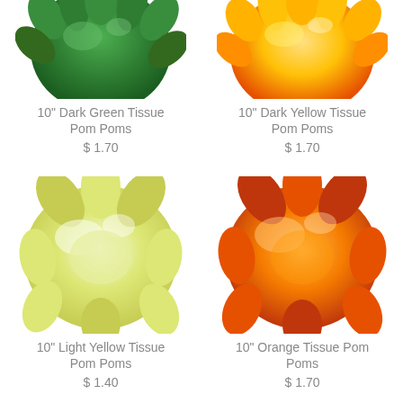[Figure (photo): 10 inch Dark Green Tissue Pom Pom - partially cropped green fluffy tissue pom pom at top]
10" Dark Green Tissue Pom Poms
$ 1.70
[Figure (photo): 10 inch Dark Yellow Tissue Pom Pom - partially cropped yellow fluffy tissue pom pom at top]
10" Dark Yellow Tissue Pom Poms
$ 1.70
[Figure (photo): 10 inch Light Yellow Tissue Pom Pom - full light yellow fluffy tissue pom pom]
10" Light Yellow Tissue Pom Poms
$ 1.40
[Figure (photo): 10 inch Orange Tissue Pom Pom - full orange fluffy tissue pom pom]
10" Orange Tissue Pom Poms
$ 1.70